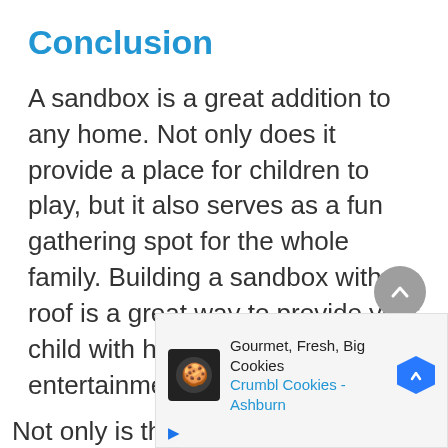Conclusion
A sandbox is a great addition to any home. Not only does it provide a place for children to play, but it also serves as a fun gathering spot for the whole family. Building a sandbox with a roof is a great way to provide your child with hours of fun and entertainment.
Not only is this project easy to build,
[Figure (other): Advertisement overlay: Gourmet, Fresh, Big Cookies - Crumbl Cookies - Ashburn, with cookie logo icon and navigation arrow]
[Figure (other): Scroll-to-top button: grey circular button with upward chevron arrow]